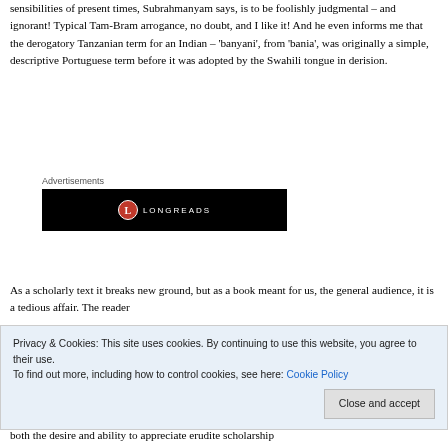sensibilities of present times, Subrahmanyam says, is to be foolishly judgmental – and ignorant! Typical Tam-Bram arrogance, no doubt, and I like it! And he even informs me that the derogatory Tanzanian term for an Indian – 'banyani', from 'bania', was originally a simple, descriptive Portuguese term before it was adopted by the Swahili tongue in derision.
Advertisements
[Figure (logo): Longreads advertisement banner: black background with Longreads logo (red circle with L) and LONGREADS text in white]
As a scholarly text it breaks new ground, but as a book meant for us, the general audience, it is a tedious affair. The reader
both the desire and ability to appreciate erudite scholarship
Privacy & Cookies: This site uses cookies. By continuing to use this website, you agree to their use.
To find out more, including how to control cookies, see here: Cookie Policy
Close and accept